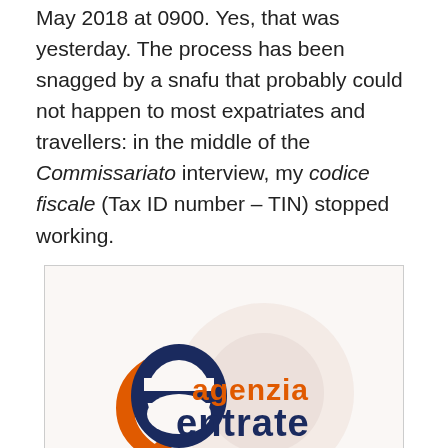May 2018 at 0900. Yes, that was yesterday. The process has been snagged by a snafu that probably could not happen to most expatriates and travellers: in the middle of the Commissariato interview, my codice fiscale (Tax ID number – TIN) stopped working.
[Figure (logo): Agenzia Entrate (Italian Revenue Agency) logo]
With the advent of electronically filled in passports and other documents, various Italian databases have created a new spelling for my surname (HINEJR instead of HINE). The Agenzia delle Entrate (Italian Revenue Agency) needs to connect my old TIN to the new spelling. The Revenue Agency will only do this with an affidavit from the US Consulate in Naples, attesting to the fact that both